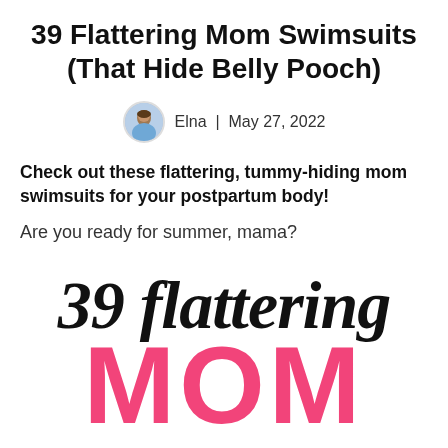39 Flattering Mom Swimsuits (That Hide Belly Pooch)
Elna | May 27, 2022
Check out these flattering, tummy-hiding mom swimsuits for your postpartum body!
Are you ready for summer, mama?
[Figure (illustration): Decorative text graphic showing '39 flattering MOM' in large stylized script and bold pink block letters]